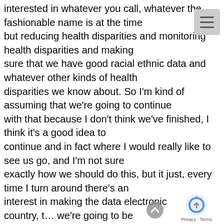interested in whatever you call, whatever the fashionable name is at the time but reducing health disparities and monitoring health disparities and making sure that we have good racial ethnic data and whatever other kinds of health disparities we know about. So I'm kind of assuming that we're going to continue with that because I don't think we've finished, I think it's a good idea to continue and in fact where I would really like to see us go, and I'm not sure exactly how we should do this, but it just, every time I turn around there's an interest in making the data electronic in this country, t… we're going to be collecting data electronically, physicians are going to be